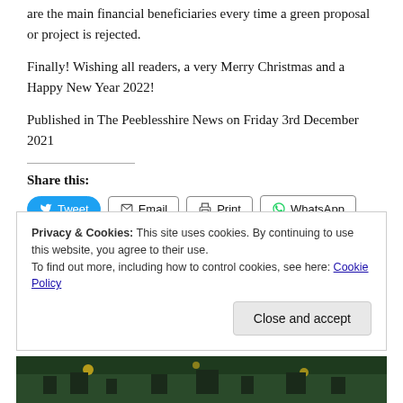are the main financial beneficiaries every time a green proposal or project is rejected.
Finally! Wishing all readers, a very Merry Christmas and a Happy New Year 2022!
Published in The Peeblesshire News on Friday 3rd December 2021
Share this:
Tweet | Email | Print | WhatsApp
Privacy & Cookies: This site uses cookies. By continuing to use this website, you agree to their use.
To find out more, including how to control cookies, see here: Cookie Policy
Close and accept
[Figure (photo): Bottom strip showing a night scene image, partially visible]